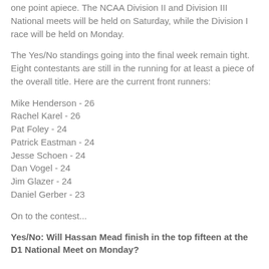one point apiece. The NCAA Division II and Division III National meets will be held on Saturday, while the Division I race will be held on Monday.
The Yes/No standings going into the final week remain tight. Eight contestants are still in the running for at least a piece of the overall title. Here are the current front runners:
Mike Henderson - 26
Rachel Karel - 26
Pat Foley - 24
Patrick Eastman - 24
Jesse Schoen - 24
Dan Vogel - 24
Jim Glazer - 24
Daniel Gerber - 23
On to the contest...
Yes/No: Will Hassan Mead finish in the top fifteen at the D1 National Meet on Monday?